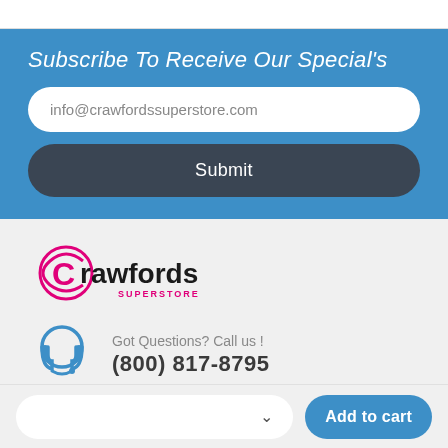Subscribe To Receive Our Special's
info@crawfordssuperstore.com
Submit
[Figure (logo): Crawfords Superstore logo with stylized C and pink/black text]
Got Questions? Call us !
(800) 817-8795
Add to cart